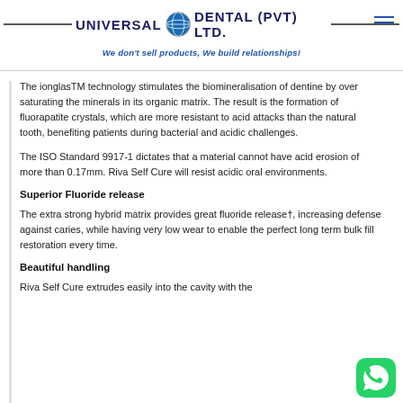UNIVERSAL DENTAL (PVT) LTD. — We don't sell products, We build relationships!
The ionglasTM technology stimulates the biomineralisation of dentine by over saturating the minerals in its organic matrix. The result is the formation of fluorapatite crystals, which are more resistant to acid attacks than the natural tooth, benefiting patients during bacterial and acidic challenges.
The ISO Standard 9917-1 dictates that a material cannot have acid erosion of more than 0.17mm. Riva Self Cure will resist acidic oral environments.
Superior Fluoride release
The extra strong hybrid matrix provides great fluoride release†, increasing defense against caries, while having very low wear to enable the perfect long term bulk fill restoration every time.
Beautiful handling
Riva Self Cure extrudes easily into the cavity with the